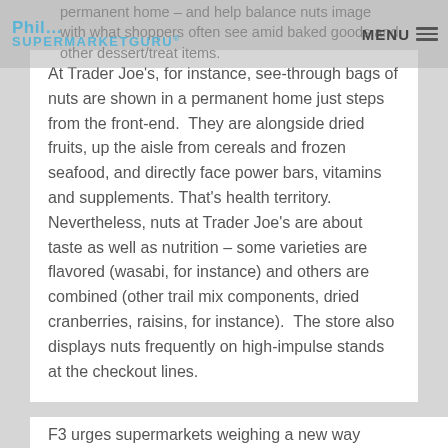Phil... SUPERMARKETGURU® | MENU
permanent home – and help balance nuts image with what shoppers often see amid baked goods and other dessert/treat items.
At Trader Joe's, for instance, see-through bags of nuts are shown in a permanent home just steps from the front-end. They are alongside dried fruits, up the aisle from cereals and frozen seafood, and directly face power bars, vitamins and supplements. That's health territory. Nevertheless, nuts at Trader Joe's are about taste as well as nutrition – some varieties are flavored (wasabi, for instance) and others are combined (other trail mix components, dried cranberries, raisins, for instance). The store also displays nuts frequently on high-impulse stands at the checkout lines.
F3 urges supermarkets weighing a new way